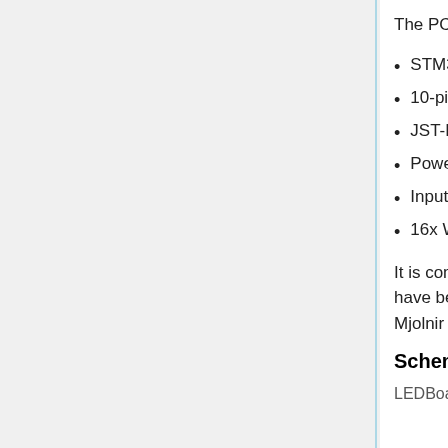The PCB was designed in KiCad, and features:
STM32 F103C8T6 Microcontroller
10-pin SWD debug header
JST-PH power connector with MIC5219 3V3 LDO Regulator
Power LED
Input voltage range from 3.7 V to 5V
16x WS2812b (aka Neopixels) arranged in a rectangle
It is completely independent from the car's power and signals, though it would have been nice to have an I2C breakout such that it could communicate with Mjolnir or the Jetson.
Schematics
LEDBoard Schematic
VBUS5